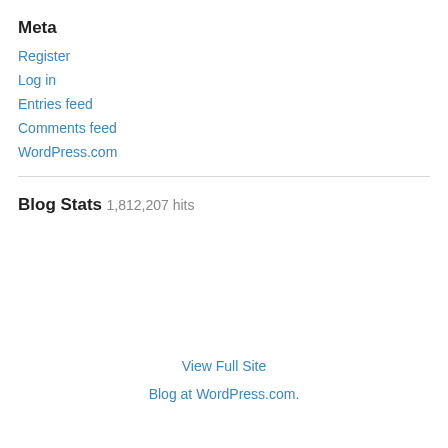Meta
Register
Log in
Entries feed
Comments feed
WordPress.com
Blog Stats
1,812,207 hits
View Full Site
Blog at WordPress.com.